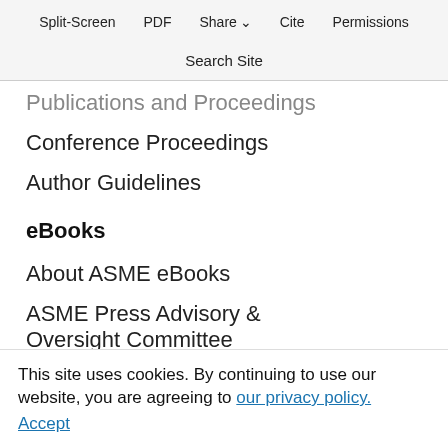Split-Screen  PDF  Share  Cite  Permissions
Search Site
Publications and Proceedings
Conference Proceedings
Author Guidelines
eBooks
About ASME eBooks
ASME Press Advisory & Oversight Committee
Book Proposal Guidelines
Resources
Contact Us
Authors
Librarians
Frequently Asked Questions
This site uses cookies. By continuing to use our website, you are agreeing to our privacy policy. Accept